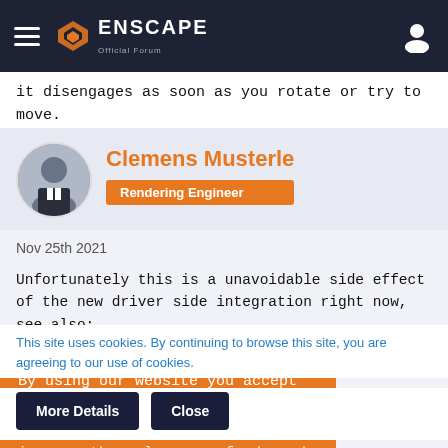Enscape Official Forum navigation bar
it disengages as soon as you rotate or try to move.
Clemens Musterle
Rendering Engineer
Nov 25th 2021
Unfortunately this is a unavoidable side effect of the new driver side integration right now, see also:
RE: Spacemouse & walking mode (3.2.0 preview7)
By using our website you accept that we use cookies to track usage and improve the relevancy of ads and may...
This site uses cookies. By continuing to browse this site, you are agreeing to our use of cookies.
More Details   Close